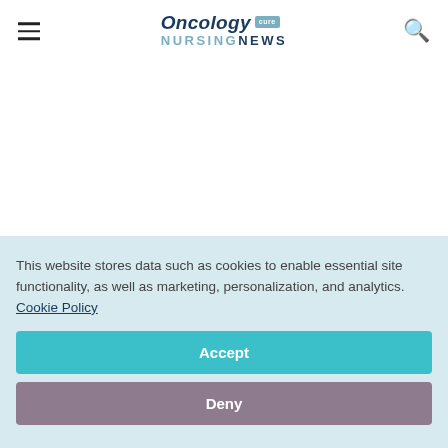Oncology NURSING NEWS
This website stores data such as cookies to enable essential site functionality, as well as marketing, personalization, and analytics. Cookie Policy
Accept
Deny